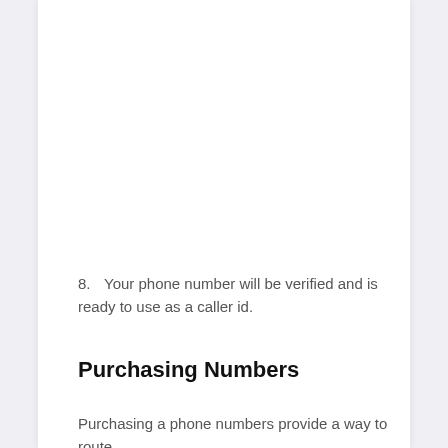8. Your phone number will be verified and is ready to use as a caller id.
Purchasing Numbers
Purchasing a phone numbers provide a way to route calls and more — text continues below this area…